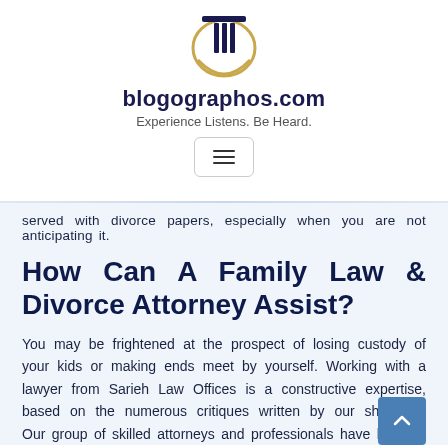[Figure (logo): Blogographos.com logo: a shield/circle emblem with vertical black bars and gold crescent]
blogographos.com
Experience Listens. Be Heard.
[Figure (other): Hamburger menu button with three horizontal lines inside a rounded rectangle border]
served with divorce papers, especially when you are not anticipating it.
How Can A Family Law & Divorce Attorney Assist?
You may be frightened at the prospect of losing custody of your kids or making ends meet by yourself. Working with a lawyer from Sarieh Law Offices is a constructive expertise, based on the numerous critiques written by our shoppers. Our group of skilled attorneys and professionals have helped